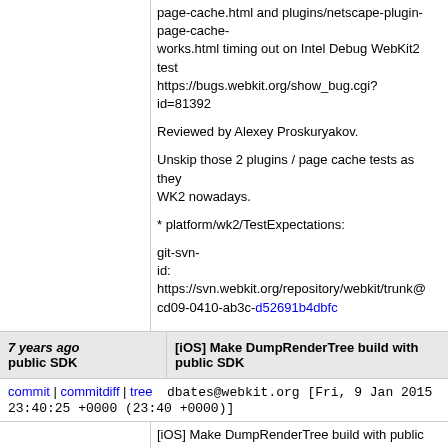page-cache.html and plugins/netscape-plugin-page-cache-works.html timing out on Intel Debug WebKit2 test https://bugs.webkit.org/show_bug.cgi?id=81392

Reviewed by Alexey Proskuryakov.

Unskip those 2 plugins / page cache tests as they WK2 nowadays.

* platform/wk2/TestExpectations:

git-svn-id: https://svn.webkit.org/repository/webkit/trunk@ cd09-0410-ab3c-d52691b4dbfc
7 years ago public SDK
[iOS] Make DumpRenderTree build with public SDK
commit | commitdiff | tree   dbates@webkit.org [Fri, 9 Jan 2015 23:40:25 +0000 (23:40 +0000)]
[iOS] Make DumpRenderTree build with public SDK https://bugs.webkit.org/show_bug.cgi?id=140311

Reviewed by Sam Weinig.

SourceWebKit2: